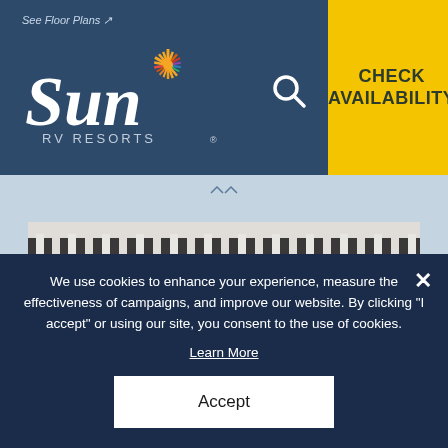[Figure (screenshot): Sun RV Resorts website header with logo, search icon, and yellow CHECK AVAILABILITY button]
[Figure (photo): Interior of an RV resort cabin or unit showing a loft area with white railing balusters above, and a hallway with wood-tone cabinetry below]
We use cookies to enhance your experience, measure the effectiveness of campaigns, and improve our website. By clicking "I accept" or using our site, you consent to the use of cookies.
Learn More
Accept